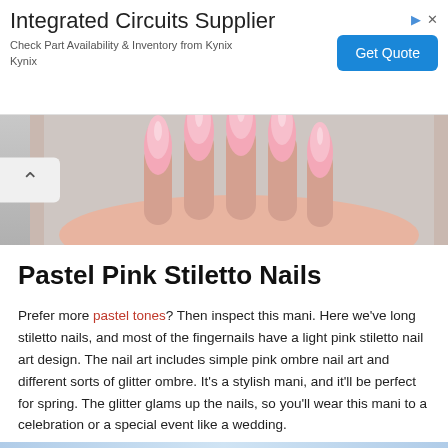[Figure (infographic): Advertisement banner for Integrated Circuits Supplier – Kynix, with Get Quote button and ad icons]
[Figure (photo): Close-up photo of hands with long pastel pink stiletto nails resting on a fluffy white/grey surface]
Pastel Pink Stiletto Nails
Prefer more pastel tones? Then inspect this mani. Here we've long stiletto nails, and most of the fingernails have a light pink stiletto nail art design. The nail art includes simple pink ombre nail art and different sorts of glitter ombre. It's a stylish mani, and it'll be perfect for spring. The glitter glams up the nails, so you'll wear this mani to a celebration or a special event like a wedding.